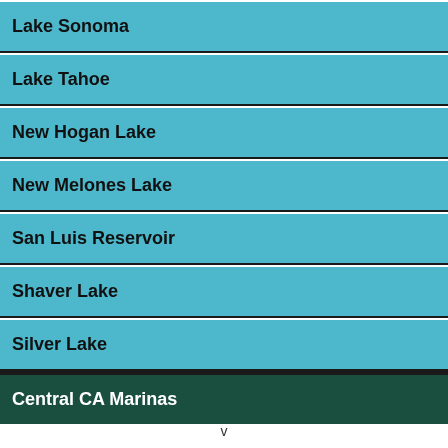Lake Sonoma
Lake Tahoe
New Hogan Lake
New Melones Lake
San Luis Reservoir
Shaver Lake
Silver Lake
Central CA Marinas
v